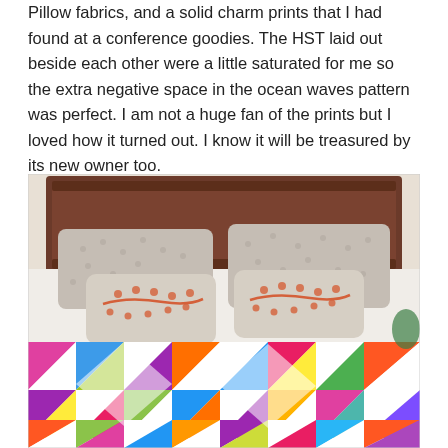Pillow fabrics, and a solid charm prints that I had found at a conference goodies. The HST laid out beside each other were a little saturated for me so the extra negative space in the ocean waves pattern was perfect. I am not a huge fan of the prints but I loved how it turned out. I know it will be treasured by its new owner too.
[Figure (photo): A colorful patchwork quilt draped over a bed with a wooden headboard. Two decorative pillows with embroidered floral branch designs in coral/orange sit in front of grey patterned standard pillows. The quilt features bright half-square triangle blocks in many colors including pink, blue, green, yellow, purple, and white in an ocean waves pattern.]